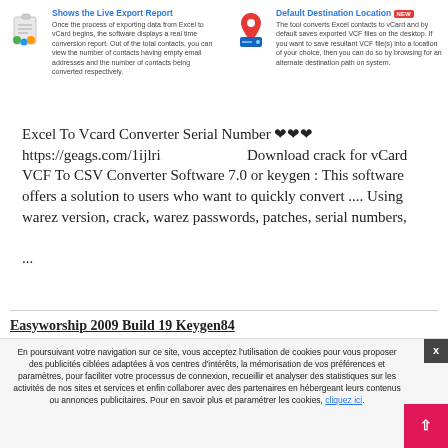[Figure (illustration): Clipboard icon with checklist and colorful bubbles]
Shows the Live Export Report
Once the process of exporting data from Excel to vCard begins, the software displays a real time conversion report. Out of the total contacts, you can view the number of contacts having empty email addresses and the number of contacts being converted respectively.
[Figure (illustration): Map pin / location marker with hard drive icon]
Default Destination Location
The tool converts Excel contacts to vCard and by default saves exported VCF files on the desktop. If you want to save resultant VCF file(s) into a location of your choice, then you can do so by browsing for an alternate destination path on system.
Excel To Vcard Converter Serial Number ❤❤❤ https://geags.com/1ijlri                    Download crack for vCard VCF To CSV Converter Software 7.0 or keygen : This software offers a solution to users who want to quickly convert .... Using warez version, crack, warez passwords, patches, serial numbers, ...
Easyworship 2009 Build 19 Keygen84
En poursuivant votre navigation sur ce site, vous acceptez l'utilisation de cookies pour vous proposer des publicités ciblées adaptées à vos centres d'intérêts, la mémorisation de vos préférences et paramètres, pour faciliter votre processus de connexion, recueillir et analyser des statistiques sur les activités de nos sites et services et enfin collaborer avec des partenaires en hébergeant leurs contenus ou annonces publicitaires. Pour en savoir plus et paramétrer les cookies, cliquez ici.